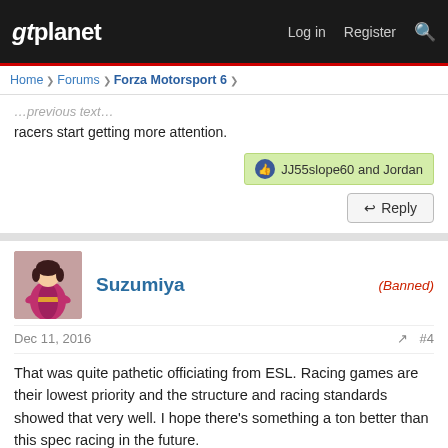gtplanet | Log in  Register
Home > Forums > Forza Motorsport 6 >
racers start getting more attention.
👍 JJ55slope60 and Jordan
↩ Reply
Suzumiya
(Banned)
Dec 11, 2016
#4
That was quite pathetic officiating from ESL. Racing games are their lowest priority and the structure and racing standards showed that very well. I hope there's something a ton better than this spec racing in the future.